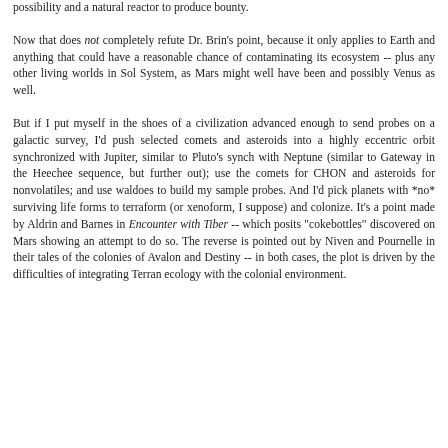possibility and a natural reactor to produce bounty.
Now that does not completely refute Dr. Brin's point, because it only applies to Earth and anything that could have a reasonable chance of contaminating its ecosystem -- plus any other living worlds in Sol System, as Mars might well have been and possibly Venus as well.
But if I put myself in the shoes of a civilization advanced enough to send probes on a galactic survey, I'd push selected comets and asteroids into a highly eccentric orbit synchronized with Jupiter, similar to Pluto's synch with Neptune (similar to Gateway in the Heechee sequence, but further out); use the comets for CHON and asteroids for nonvolatiles; and use waldoes to build my sample probes. And I'd pick planets with *no* surviving life forms to terraform (or xenoform, I suppose) and colonize. It's a point made by Aldrin and Barnes in Encounter with Tiber -- which posits "cokebottles" discovered on Mars showing an attempt to do so. The reverse is pointed out by Niven and Pournelle in their tales of the colonies of Avalon and Destiny -- in both cases, the plot is driven by the difficulties of integrating Terran ecology with the colonial environment.